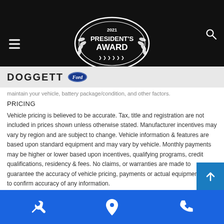Doggett Ford - 2021 President's Award
maintain your vehicle, battery package/condition, and other factors.
PRICING
Vehicle pricing is believed to be accurate. Tax, title and registration are not included in prices shown unless otherwise stated. Manufacturer incentives may vary by region and are subject to change. Vehicle information & features are based upon standard equipment and may vary by vehicle. Monthly payments may be higher or lower based upon incentives, qualifying programs, credit qualifications, residency & fees. No claims, or warranties are made to guarantee the accuracy of vehicle pricing, payments or actual equipment. Call to confirm accuracy of any information.
Service | Location | Phone